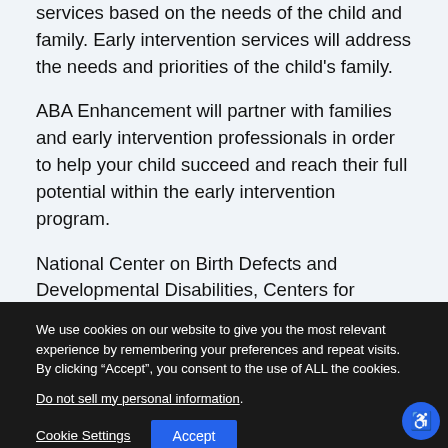services based on the needs of the child and family. Early intervention services will address the needs and priorities of the child’s family.
ABA Enhancement will partner with families and early intervention professionals in order to help your child succeed and reach their full potential within the early intervention program.
National Center on Birth Defects and Developmental Disabilities, Centers for Disease Control and Prevention. (2021). Concerned About Your Child’s
We use cookies on our website to give you the most relevant experience by remembering your preferences and repeat visits. By clicking “Accept”, you consent to the use of ALL the cookies.
Do not sell my personal information.